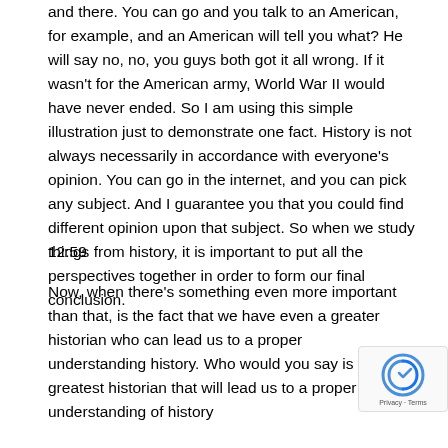and there. You can go and you talk to an American, for example, and an American will tell you what? He will say no, no, you guys both got it all wrong. If it wasn't for the American army, World War II would have never ended. So I am using this simple illustration just to demonstrate one fact. History is not always necessarily in accordance with everyone's opinion. You can go in the internet, and you can pick any subject. And I guarantee you that you could find different opinion upon that subject. So when we study things from history, it is important to put all the perspectives together in order to form our final conclusion.
12:59
Now, when there's something even more important than that, is the fact that we have even a greater historian who can lead us to a proper understanding history. Who would you say is the greatest historian that will lead us to a proper understanding of history Who was the Bible, created by God, that I'll...